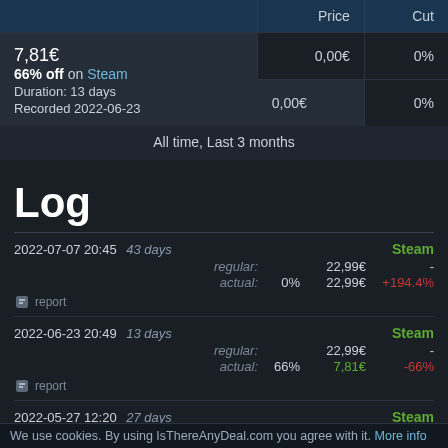|  | Price | Cut |
| --- | --- | --- |
| 7,81€
66% off on Steam
Duration: 13 days
Recorded 2022-06-23 | 0,00€ | 0% |
|  | 0,00€ | 0% |
All time, Last 3 months
Log
2022-07-07 20:45 43 days
regular: 22,99€ -
actual: 0% 22,99€ +194.4%
report
2022-06-23 20:49 13 days
regular: 22,99€ -
actual: 66% 7,81€ -66%
report
2022-05-27 12:20 27 days
regular: 22,99€ -
actual: 0% 22,99€ +194.4%
report
We use cookies. By using IsThereAnyDeal.com you agree with it. More info